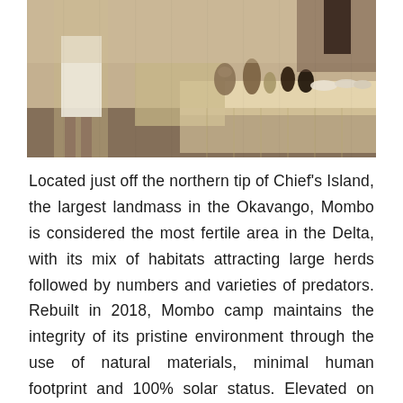[Figure (photo): Interior photograph of a luxury safari lodge/camp showing a buffet or dining counter with natural wood paneling, bronze/gold decorative vessels, bowls, and tableware arranged on the surface. A person in a white outfit is partially visible on the left side.]
Located just off the northern tip of Chief's Island, the largest landmass in the Okavango, Mombo is considered the most fertile area in the Delta, with its mix of habitats attracting large herds followed by numbers and varieties of predators. Rebuilt in 2018, Mombo camp maintains the integrity of its pristine environment through the use of natural materials, minimal human footprint and 100% solar status. Elevated on wooden decks beneath towering shade trees, Mombo overlooks a floodplain teeming with game. Elegant, expansive guest suites celebrate the history and traditions of the camp, while a large deck